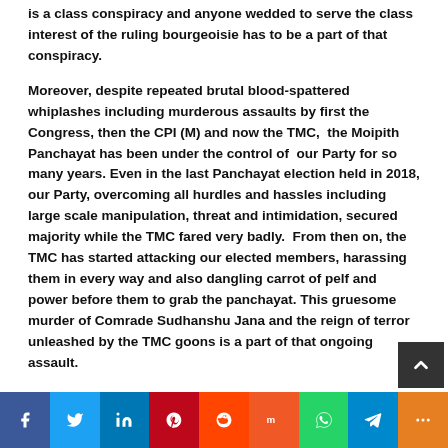is a class conspiracy and anyone wedded to serve the class interest of the ruling bourgeoisie has to be a part of that conspiracy.
Moreover, despite repeated brutal blood-spattered whiplashes including murderous assaults by first the Congress, then the CPI (M) and now the TMC,  the Moipith Panchayat has been under the control of  our Party for so many years. Even in the last Panchayat election held in 2018, our Party, overcoming all hurdles and hassles including large scale manipulation, threat and intimidation, secured majority while the TMC fared very badly.  From then on, the TMC has started attacking our elected members, harassing them in every way and also dangling carrot of pelf and power before them to grab the panchayat. This gruesome murder of Comrade Sudhanshu Jana and the reign of terror unleashed by the TMC goons is a part of that ongoing assault.